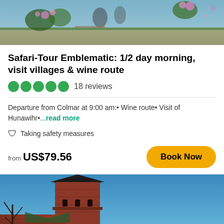[Figure (photo): Outdoor garden/terrace scene with flowers and decorative elements, top portion of listing card image]
Safari-Tour Emblematic: 1/2 day morning, visit villages & wine route
18 reviews
Departure from Colmar at 9:00 am:• Wine route• Visit of Hunawihr•...read more
🛡 Taking safety measures
from US$79.56
Book Now
[Figure (photo): Castle tower with dark roof against blue sky, red brick medieval fortress with landscape in background]